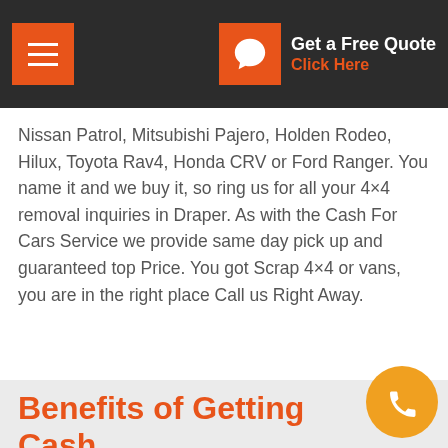Get a Free Quote — Click Here
Nissan Patrol, Mitsubishi Pajero, Holden Rodeo, Hilux, Toyota Rav4, Honda CRV or Ford Ranger. You name it and we buy it, so ring us for all your 4×4 removal inquiries in Draper. As with the Cash For Cars Service we provide same day pick up and guaranteed top Price. You got Scrap 4×4 or vans, you are in the right place Call us Right Away.
Benefits of Getting Cash